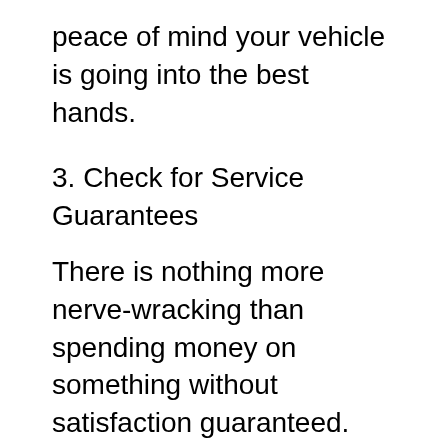peace of mind your vehicle is going into the best hands.
3. Check for Service Guarantees
There is nothing more nerve-wracking than spending money on something without satisfaction guaranteed. Because of that, check in with respected companies and ask them about their service guarantees, if they have them. Those that feature it can allow you to feel more at ease knowing that you will get quality outcomes. However, this does not mean that car inspections are not still important beforehand. So be cautious of